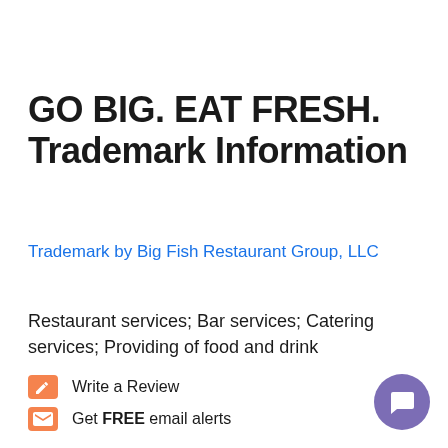GO BIG. EAT FRESH. Trademark Information
Trademark by Big Fish Restaurant Group, LLC
Restaurant services; Bar services; Catering services; Providing of food and drink
Write a Review
Get FREE email alerts